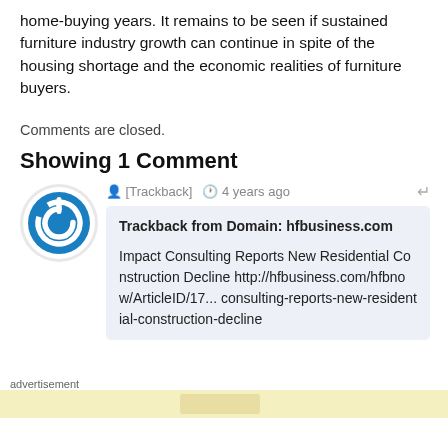home-buying years. It remains to be seen if sustained furniture industry growth can continue in spite of the housing shortage and the economic realities of furniture buyers.
Comments are closed.
Showing 1 Comment
[Trackback]  4 years ago
Trackback from Domain: hfbusiness.com

Impact Consulting Reports New Residential Construction Decline http://hfbusiness.com/hfbnow/ArticleID/17... consulting-reports-new-residential-construction-decline
advertisement